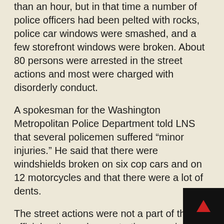than an hour, but in that time a number of police officers had been pelted with rocks, police car windows were smashed, and a few storefront windows were broken. About 80 persons were arrested in the street actions and most were charged with disorderly conduct.
A spokesman for the Washington Metropolitan Police Department told LNS that several policemen suffered “minor injuries.” He said that there were windshields broken on six cop cars and on 12 motorcycles and that there were a lot of dents.
The street actions were not a part of the official anti-war demonstration organized by the National Mobilization Committee to End the War in Vietnam (Mobe).
Many of the street people—about a thousand in all—identified with Students for a Democratic Society (SDS) and Co-Aim, the New York based Coalition for an Anti-Imperialist Movement.